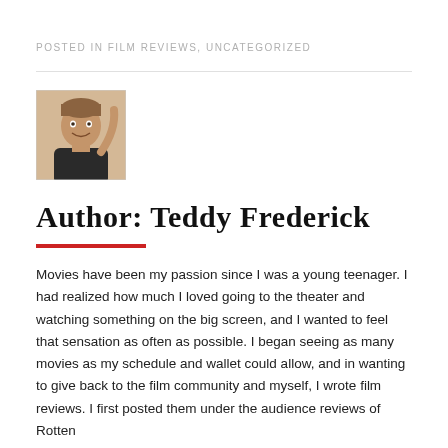POSTED IN FILM REVIEWS, UNCATEGORIZED
[Figure (photo): Headshot photo of author Teddy Frederick, a young man smiling]
Author: Teddy Frederick
Movies have been my passion since I was a young teenager. I had realized how much I loved going to the theater and watching something on the big screen, and I wanted to feel that sensation as often as possible. I began seeing as many movies as my schedule and wallet could allow, and in wanting to give back to the film community and myself, I wrote film reviews. I first posted them under the audience reviews of Rotten